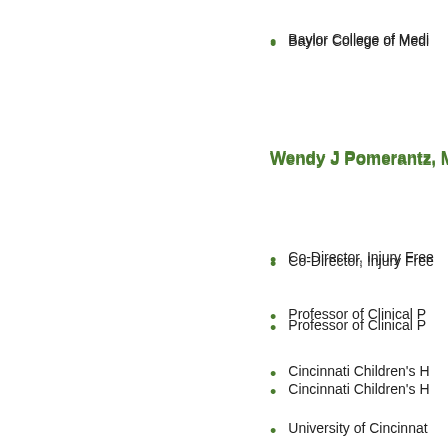Baylor College of Medicine
Wendy J Pomerantz, MD,
Co-Director, Injury Free
Professor of Clinical P
Cincinnati Children's H
University of Cincinnati
Scott L Pomeroy, MD, Ph
Bronson Crothers Prof
Harvard Medical Schoo
Stephen Ponder, MD, FA
Professor of Pediatrics